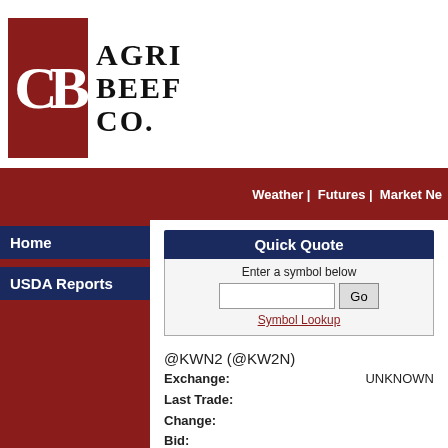[Figure (logo): Agri Beef Co. logo with red box containing stylized letters and company name text]
Weather | Futures | Market Ne
Home
USDA Reports
Quick Quote
Enter a symbol below
Symbol Lookup
@KWN2 (@KW2N)
| Field | Value |
| --- | --- |
| Exchange: | UNKNOWN |
| Last Trade: |  |
| Change: |  |
| Bid: |  |
| Ask: |  |
| Today's High: |  |
| Today's Low: |  |
| Volume: | 0 |
| Open: |  |
| Close: |  |
| Prev: |  |
| Contract High: |  |
| Contract Low: |  |
| Updated: |  |
| Delay Time: | 0 Minutes |